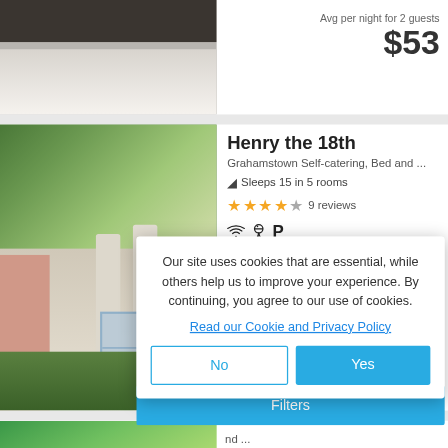[Figure (photo): Photo of a bed with white sheets and dark headboard]
Avg per night for 2 guests
$53
[Figure (photo): Exterior photo of a property called Henry the 18th, showing trees, columns, pink wall, and window]
Henry the 18th
Grahamstown Self-catering, Bed and ...
Sleeps 15 in 5 rooms
★★★★☆ 9 reviews
WiFi, BBQ, Parking amenities icons
Avg per night for 2 guests
$50
[Figure (photo): Partially visible photo of a property with pool and tropical plants]
nd ...
t for 1 guest
$58
Our site uses cookies that are essential, while others help us to improve your experience. By continuing, you agree to our use of cookies.
Read our Cookie and Privacy Policy
No
Yes
Filters